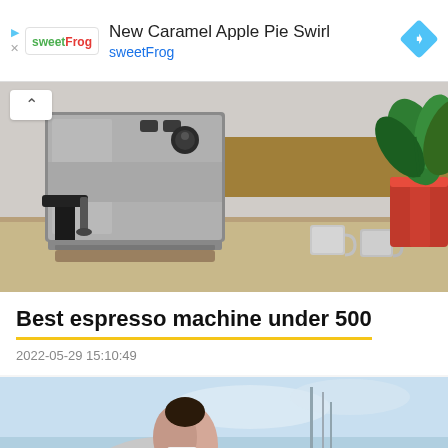[Figure (other): Advertisement banner for sweetFrog featuring 'New Caramel Apple Pie Swirl' with sweetFrog logo (green and red text), a blue diamond navigation icon on the right, and ad disclosure icons on the left.]
[Figure (photo): Photo of a stainless steel espresso machine on a wooden counter with two gray ceramic mugs and a red plant pot with a green tropical plant in the background.]
Best espresso machine under 500
2022-05-29 15:10:49
[Figure (photo): Partial photo of a person in a light gray sweater/cardigan viewed from behind/side, against a blue sky with what appear to be tall thin structures in the background.]